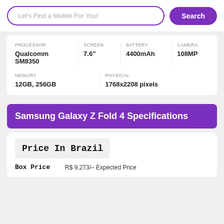Let's Find a Mobile For You!
Search
| PROCESSOR | SCREEN | BATTERY | CAMERA |
| --- | --- | --- | --- |
| Qualcomm SM8350 | 7.6" | 4400mAh | 108MP |
| MEMORY | PHYSICAL |
| --- | --- |
| 12GB, 256GB | 1768x2208 pixels |
Samsung Galaxy Z Fold 4 Specifications
Price In Brazil
Box Price R$ 9,273/- Expected Price